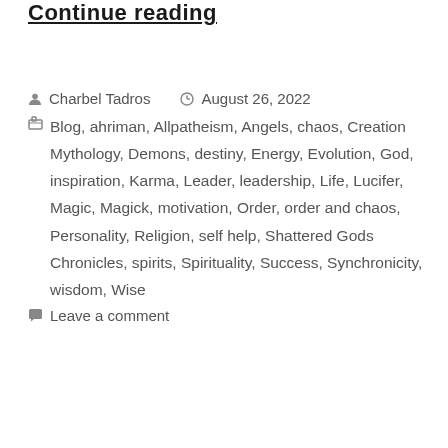Continue reading
Charbel Tadros   August 26, 2022
Blog, ahriman, Allpatheism, Angels, chaos, Creation Mythology, Demons, destiny, Energy, Evolution, God, inspiration, Karma, Leader, leadership, Life, Lucifer, Magic, Magick, motivation, Order, order and chaos, Personality, Religion, self help, Shattered Gods Chronicles, spirits, Spirituality, Success, Synchronicity, wisdom, Wise
Leave a comment